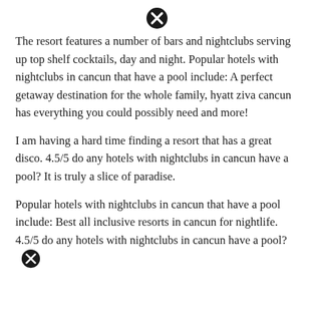[Figure (other): Close/cancel icon (circled X) at top center of page]
The resort features a number of bars and nightclubs serving up top shelf cocktails, day and night. Popular hotels with nightclubs in cancun that have a pool include: A perfect getaway destination for the whole family, hyatt ziva cancun has everything you could possibly need and more!
I am having a hard time finding a resort that has a great disco. 4.5/5 do any hotels with nightclubs in cancun have a pool? It is truly a slice of paradise.
Popular hotels with nightclubs in cancun that have a pool include: Best all inclusive resorts in cancun for nightlife. 4.5/5 do any hotels with nightclubs in cancun have a pool?
[Figure (other): Close/cancel icon (circled X) at bottom center of page]